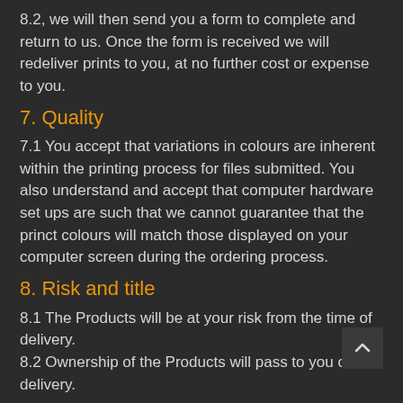8.2, we will then send you a form to complete and return to us. Once the form is received we will redeliver prints to you, at no further cost or expense to you.
7. Quality
7.1 You accept that variations in colours are inherent within the printing process for files submitted. You also understand and accept that computer hardware set ups are such that we cannot guarantee that the princt colours will match those displayed on your computer screen during the ordering process.
8. Risk and title
8.1 The Products will be at your risk from the time of delivery.
8.2 Ownership of the Products will pass to you on delivery.
9. Price and payment
9.1 The price of any Products will be as quoted on our website, except in cases of obvious error.
9.2 The print prices are not subject to VAT, but do not include delivery costs, which will be added to the total amount due as set out in the checkout section of the online